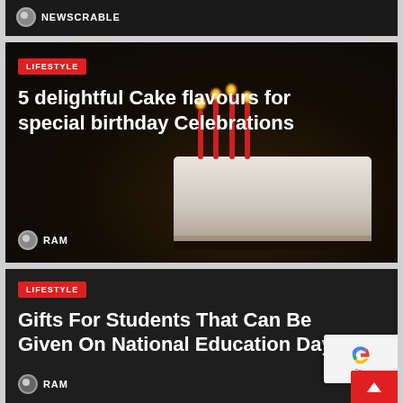[Figure (screenshot): Partial top card on dark background showing NEWSCRABLE author label]
NEWSCRABLE
[Figure (photo): Birthday cake with lit red candles on dark background]
LIFESTYLE
5 delightful Cake flavours for special birthday Celebrations
RAM
[Figure (screenshot): Dark card with Lifestyle badge and article title about National Education Day]
LIFESTYLE
Gifts For Students That Can Be Given On National Education Day
RAM